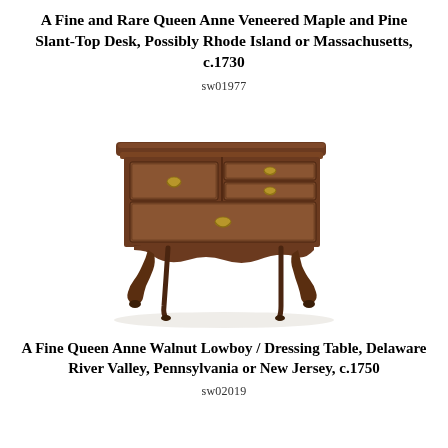A Fine and Rare Queen Anne Veneered Maple and Pine Slant-Top Desk, Possibly Rhode Island or Massachusetts, c.1730
sw01977
[Figure (photo): Photograph of a Queen Anne veneered maple and pine slant-top desk with cabriole legs, four drawers with brass hardware, dark walnut finish, c.1730]
A Fine Queen Anne Walnut Lowboy / Dressing Table, Delaware River Valley, Pennsylvania or New Jersey, c.1750
sw02019